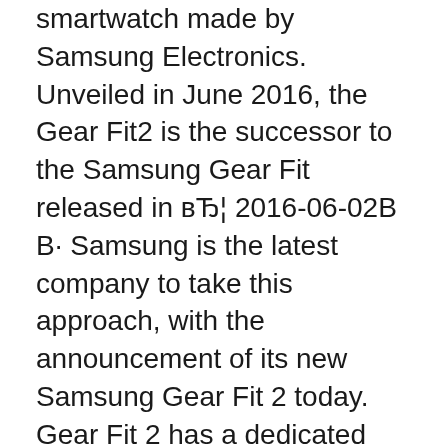smartwatch made by Samsung Electronics. Unveiled in June 2016, the Gear Fit2 is the successor to the Samsung Gear Fit released in вЂ¦ 2016-06-02В В· Samsung is the latest company to take this approach, with the announcement of its new Samsung Gear Fit 2 today. Gear Fit 2 has a dedicated Spotify app.
2017-08-30В В· Samsung Gear Fit 2 Pro looks more like a traditional watch and more apps should hold out for the Gear Sport reviews editor of Engadget. 2017-09-25В В· September 2017: finally, Spotify is now also available for iPhone users! Here's a review. Links to Amazon: - http://amzn.to/2zaz06u (Gear Fit 2